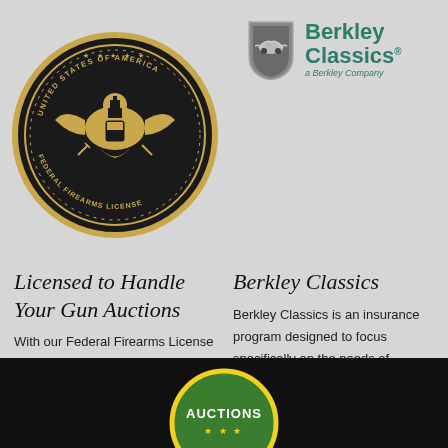[Figure (logo): Federal Firearms License circular badge/medallion with eagle emblem, black and gold coloring]
[Figure (logo): Berkley Classics logo: gray shield icon with stylized car emblem, teal/green text reading 'Berkley Classics' with subtitle 'a Berkley Company']
Licensed to Handle Your Gun Auctions
With our Federal Firearms License (FFL) in hand, we're certified to sell all types of rare and collectible firearms.
Berkley Classics
Berkley Classics is an insurance program designed to focus specifically on the needs of collector vehicle owners. Learn more.
[Figure (logo): Round green and yellow Auctions logo, partially visible at bottom of page on black background]